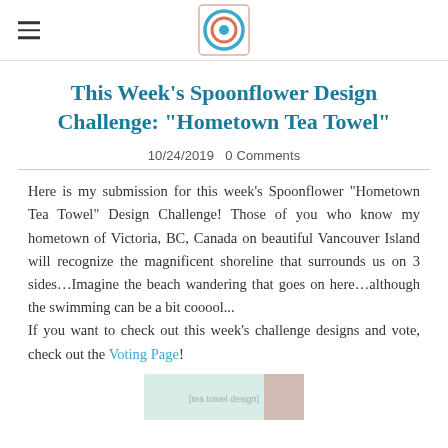[Spoonflower logo]
This Week's Spoonflower Design Challenge: "Hometown Tea Towel"
10/24/2019   0 Comments
Here is my submission for this week's Spoonflower "Hometown Tea Towel" Design Challenge! Those of you who know my hometown of Victoria, BC, Canada on beautiful Vancouver Island will recognize the magnificent shoreline that surrounds us on 3 sides…Imagine the beach wandering that goes on here…although the swimming can be a bit cooool...
If you want to check out this week's challenge designs and vote, check out the Voting Page!
[Figure (photo): Partial thumbnail image of a tea towel design at the bottom of the page]